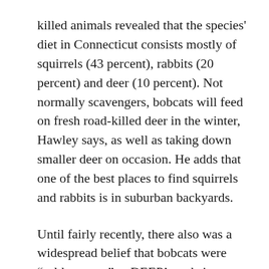killed animals revealed that the species' diet in Connecticut consists mostly of squirrels (43 percent), rabbits (20 percent) and deer (10 percent). Not normally scavengers, bobcats will feed on fresh road-killed deer in the winter, Hawley says, as well as taking down smaller deer on occasion. He adds that one of the best places to find squirrels and rabbits is in suburban backyards.
Until fairly recently, there also was a widespread belief that bobcats were “seldom seen”— DEEP’s website uses those words. Another stereotype shot to hell. At a recent presentation for the East Haddam Land Trust, DEEP wildlife biologist Paul Rego asked the roughly 100 attendees to raise